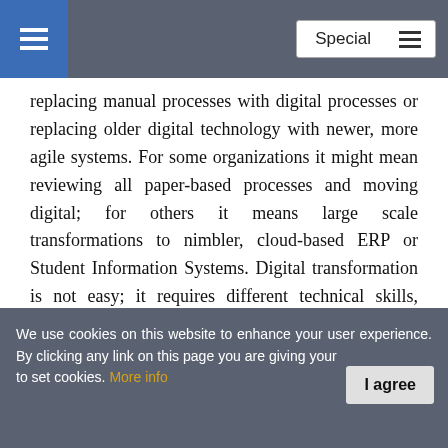Special
replacing manual processes with digital processes or replacing older digital technology with newer, more agile systems. For some organizations it might mean reviewing all paper-based processes and moving digital; for others it means large scale transformations to nimbler, cloud-based ERP or Student Information Systems. Digital transformation is not easy; it requires different technical skills, change management skills and intestinal fortitude at the leadership level to really effect change.
Although Digital transformation is difficult, organizations that successfully engage in digital transformation see much better results for their students and employees. Although
We use cookies on this website to enhance your user experience. By clicking any link on this page you are giving your consent to set cookies. More info